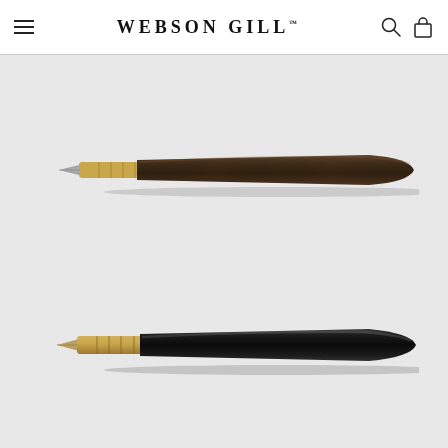Webson Gill™
[Figure (photo): Two Webson Gill fountain pens shown horizontally. Top pen has a dark brown/walnut wood barrel with gold-tone metal section and nib. Bottom pen has a glossy black barrel with gold-tone metal section and nib. Both pens are uncapped and displayed against a light grey background with subtle drop shadows.]